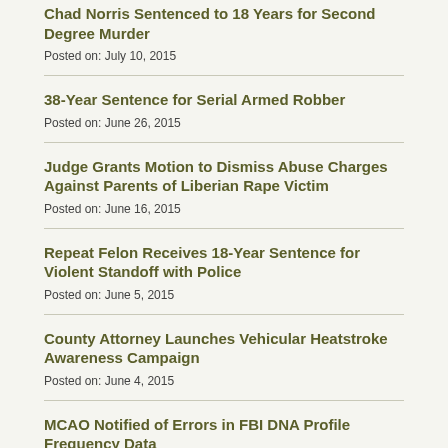Chad Norris Sentenced to 18 Years for Second Degree Murder
Posted on: July 10, 2015
38-Year Sentence for Serial Armed Robber
Posted on: June 26, 2015
Judge Grants Motion to Dismiss Abuse Charges Against Parents of Liberian Rape Victim
Posted on: June 16, 2015
Repeat Felon Receives 18-Year Sentence for Violent Standoff with Police
Posted on: June 5, 2015
County Attorney Launches Vehicular Heatstroke Awareness Campaign
Posted on: June 4, 2015
MCAO Notified of Errors in FBI DNA Profile Frequency Data